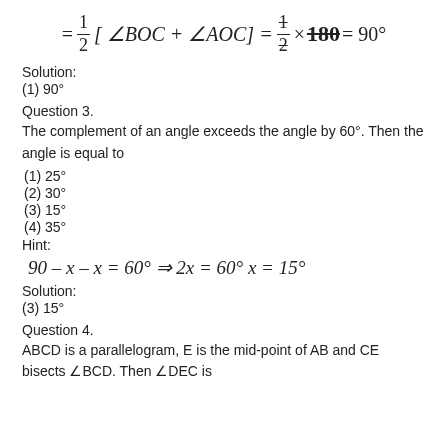Solution:
(1) 90°
Question 3.
The complement of an angle exceeds the angle by 60°. Then the angle is equal to
(1) 25°
(2) 30°
(3) 15°
(4) 35°
Hint:
Solution:
(3) 15°
Question 4.
ABCD is a parallelogram, E is the mid-point of AB and CE bisects ∠BCD. Then ∠DEC is